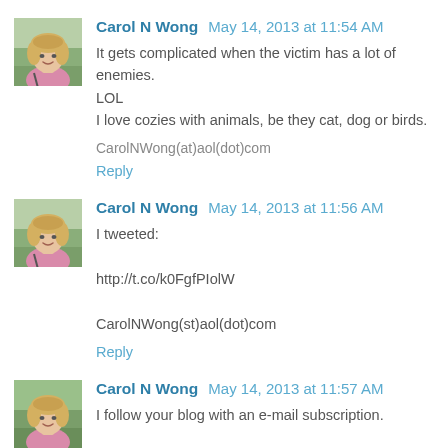[Figure (photo): Avatar photo of Carol N Wong - woman with blonde hair wearing pink]
Carol N Wong May 14, 2013 at 11:54 AM
It gets complicated when the victim has a lot of enemies. LOL
I love cozies with animals, be they cat, dog or birds.

CarolNWong(at)aol(dot)com
Reply
[Figure (photo): Avatar photo of Carol N Wong - woman with blonde hair wearing pink]
Carol N Wong May 14, 2013 at 11:56 AM
I tweeted:

http://t.co/k0FgfPIolW

CarolNWong(st)aol(dot)com
Reply
[Figure (photo): Avatar photo of Carol N Wong - woman with blonde hair wearing pink]
Carol N Wong May 14, 2013 at 11:57 AM
I follow your blog with an e-mail subscription.